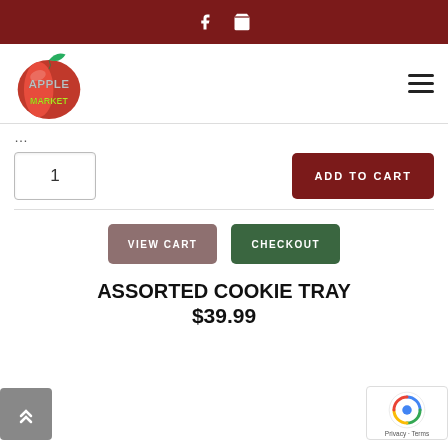Apple Market website header with Facebook icon and shopping bag icon
[Figure (logo): Apple Market logo: red apple with green leaf and text APPLE MARKET in metallic and yellow-green letters]
...
1  ADD TO CART
VIEW CART  CHECKOUT
ASSORTED COOKIE TRAY
$39.99